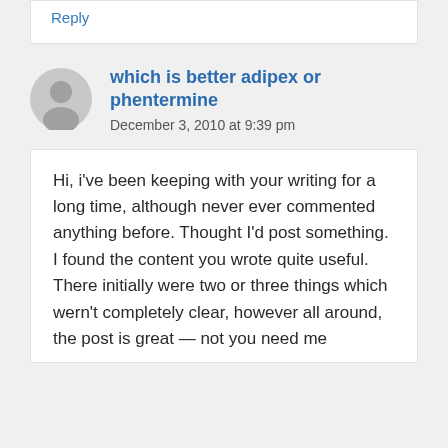Reply
which is better adipex or phentermine
December 3, 2010 at 9:39 pm
Hi, i've been keeping with your writing for a long time, although never ever commented anything before. Thought I'd post something. I found the content you wrote quite useful. There initially were two or three things which wern't completely clear, however all around, the post is great — not you need me